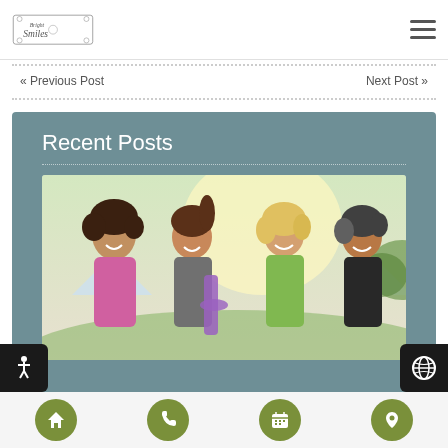Bright Smiles logo and navigation menu
« Previous Post
Next Post »
Recent Posts
[Figure (photo): Four middle-aged women smiling and laughing outdoors, wearing athletic clothing, one holding a yoga mat]